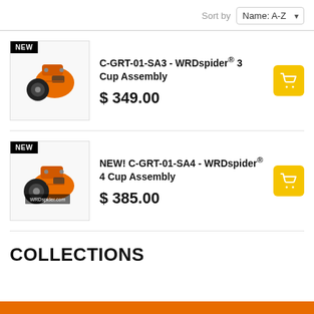Sort by  Name: A-Z
[Figure (photo): Orange WRDspider 3-cup assembly tool with black wheel, shown at angle. Black NEW badge in top-left corner.]
C-GRT-01-SA3 - WRDspider® 3 Cup Assembly
$ 349.00
[Figure (photo): Orange WRDspider 4-cup assembly tool with black wheel, shown at angle. Black NEW badge and WRDspider.com watermark. Black NEW badge in top-left corner.]
NEW! C-GRT-01-SA4 - WRDspider® 4 Cup Assembly
$ 385.00
COLLECTIONS